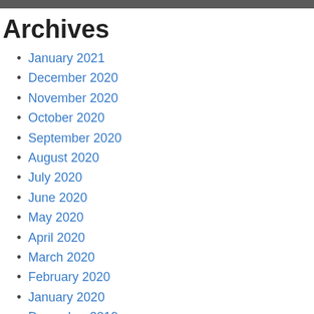Archives
January 2021
December 2020
November 2020
October 2020
September 2020
August 2020
July 2020
June 2020
May 2020
April 2020
March 2020
February 2020
January 2020
December 2019
November 2019
September 2019
August 2019
July 2019
June 2019
May 2019